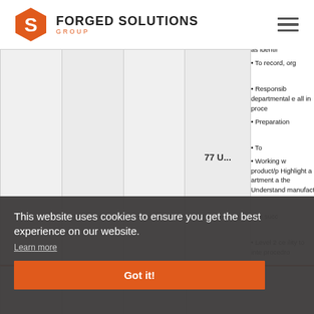Forged Solutions Group
as identified • To record, org • Responsible departmental all in proce • Preparation • To • Working w product/p Highlight a artment a the Understano manufact The succ • Level 2 ce ility to inter procedro
This website uses cookies to ensure you get the best experience on our website. Learn more Got it!